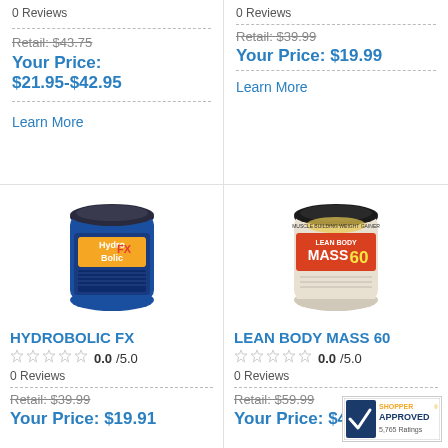0 Reviews
Retail: $43.75
Your Price: $21.95-$42.95
Learn More
0 Reviews
Retail: $39.99
Your Price: $19.99
Learn More
[Figure (photo): Blue tub of HydroBolic FX protein supplement]
HYDROBOLIC FX
0.0/5.0
0 Reviews
Retail: $39.99
Your Price: $19.91
[Figure (photo): Lean Body Mass 60 supplement container]
LEAN BODY MASS 60
0.0/5.0
0 Reviews
Retail: $59.99
Your Price: $4...
[Figure (logo): Shopper Approved badge with 5,765 Ratings]